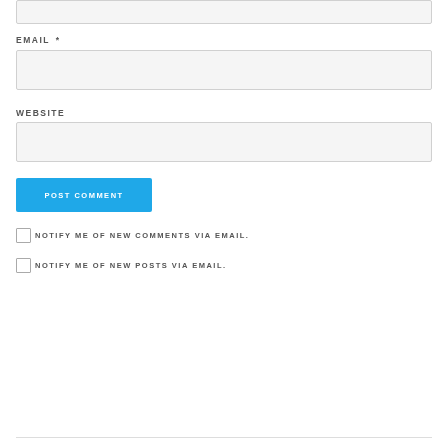[top input field]
EMAIL *
[email input field]
WEBSITE
[website input field]
POST COMMENT
NOTIFY ME OF NEW COMMENTS VIA EMAIL.
NOTIFY ME OF NEW POSTS VIA EMAIL.